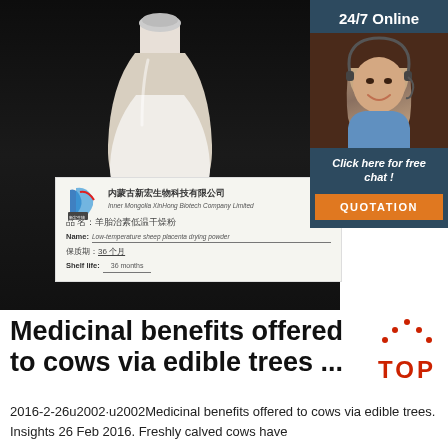[Figure (photo): Product photo showing a bottle of white powder (low-temperature sheep placenta drying powder) with a product label card from Inner Mongolia XinHong Biotech Company Limited. Shelf life: 36 months. Dark background. Chat widget overlay on right showing '24/7 Online', woman with headset, 'Click here for free chat!', QUOTATION button.]
Medicinal benefits offered to cows via edible trees ...
2016-2-26u2002·u2002Medicinal benefits offered to cows via edible trees. Insights 26 Feb 2016. Freshly calved cows have the most ...